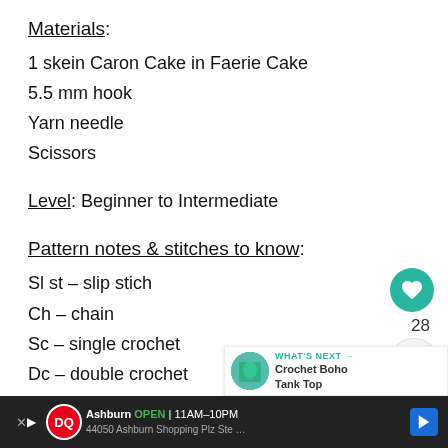Materials:
1 skein Caron Cake in Faerie Cake
5.5 mm hook
Yarn needle
Scissors
Level: Beginner to Intermediate
Pattern notes & stitches to know:
Sl st – slip stich
Ch – chain
Sc – single crochet
Dc – double crochet
Dc2tog – (double crochet 2 together) Yarn over, insert hook into stitch, yarn over pull up a loop, yarn over an...
[Figure (screenshot): UI overlay with heart/favorite button showing count 28, share button, up/chevron button, and 'What's Next: Crochet Boho Tank Top' recommendation bar]
[Figure (screenshot): Advertisement bar for Dairy Queen: Ashburn OPEN 11AM-10PM, 44050 Ashburn Shopping Plz Ste...]